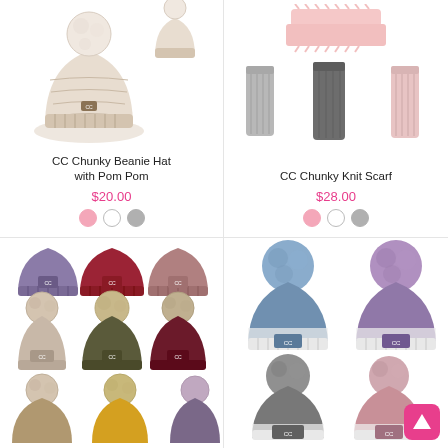[Figure (photo): CC Chunky Beanie Hat with Pom Pom product listing showing beanie hat with pom pom in multiple color variants, price $20.00, with pink, white, and gray color swatches]
[Figure (photo): CC Chunky Knit Scarf product listing showing scarves in multiple color variants, price $28.00, with pink, white, and gray color swatches]
[Figure (photo): Bottom left product showing multiple cable knit beanies with faux fur pom poms in various colors including purple, red, mauve, taupe, olive, burgundy, and others]
[Figure (photo): Bottom right product showing multiple chunky knit striped beanies with large pom poms in blue/white and purple/white color combinations]